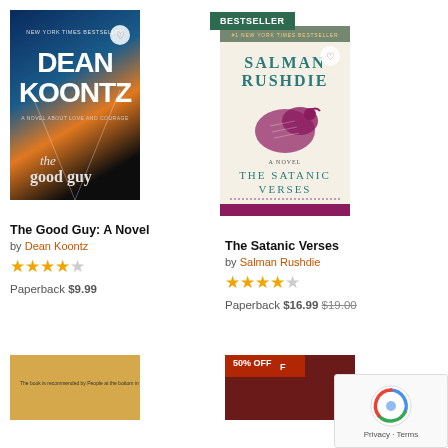[Figure (photo): Book cover: The Good Guy: A Novel by Dean Koontz, thriller cover with blue/orange dramatic highway scene]
The Good Guy: A Novel
by Dean Koontz
★★★★☆ (4 stars)
Paperback $9.99
[Figure (photo): Book cover: The Satanic Verses by Salman Rushdie, cream cover with teal and magenta lettering and decorative bird illustration. BESTSELLER badge.]
The Satanic Verses
by Salman Rushdie
★★★★☆ (4.5 stars)
Paperback $16.99 $19.00
[Figure (photo): Partial book cover visible at bottom left, yellow/tan color]
[Figure (photo): Partial book cover visible at bottom right, dark red color with 50% OFF badge]
50% OFF
[Figure (other): reCAPTCHA widget overlay with spinning logo, showing Privacy - Terms text]